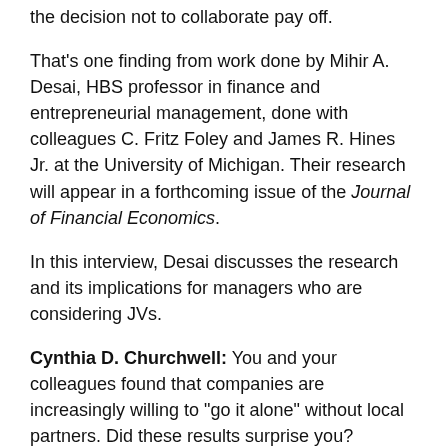the decision not to collaborate pay off.
That's one finding from work done by Mihir A. Desai, HBS professor in finance and entrepreneurial management, done with colleagues C. Fritz Foley and James R. Hines Jr. at the University of Michigan. Their research will appear in a forthcoming issue of the Journal of Financial Economics.
In this interview, Desai discusses the research and its implications for managers who are considering JVs.
Cynthia D. Churchwell: You and your colleagues found that companies are increasingly willing to "go it alone" without local partners. Did these results surprise you?
Mihir Desai: Given the popular rhetoric on the importance of alliances and joint ventures, we were